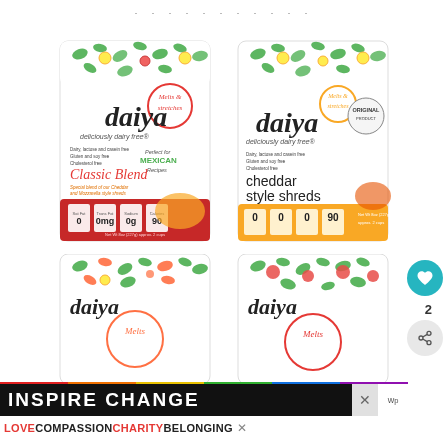[Figure (photo): Decorative dots row at top of page]
[Figure (photo): Daiya Classic Blend dairy-free cheese shreds package — red accented bag with green/yellow leaf pattern, 'Melts & stretches' badge, 'Perfect for MEXICAN Recipes' text, nutrition info showing 0 calories fat, 0g, 0g, 90]
[Figure (photo): Daiya Cheddar Style Shreds dairy-free cheese package — yellow/gold accented bag with green/yellow leaf pattern, 'Melts & stretches' badge, 'ORIGINAL PRODUCT' stamp, nutrition info showing 0, 0, 0, 90. Net Wt 8oz (227g)]
[Figure (photo): Partial view of Daiya product package bottom-left — orange/carrot leaf pattern, 'Melts' badge visible]
[Figure (photo): Partial view of Daiya product package bottom-right — red/cranberry leaf pattern, 'Melts' badge visible]
[Figure (infographic): INSPIRE CHANGE banner with rainbow strip below it. Text: INSPIRE CHANGE in white bold on black background. Sub-text: LOVE COMPASSION CHARITY BELONGING in colored bold text]
LOVE COMPASSION CHARITY BELONGING